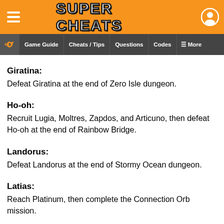Super Cheats
Game Guide | Cheats / Tips | Questions | Codes | More
Giratina:
Defeat Giratina at the end of Zero Isle dungeon.
Ho-oh:
Recruit Lugia, Moltres, Zapdos, and Articuno, then defeat Ho-oh at the end of Rainbow Bridge.
Landorus:
Defeat Landorus at the end of Stormy Ocean dungeon.
Latias:
Reach Platinum, then complete the Connection Orb mission.